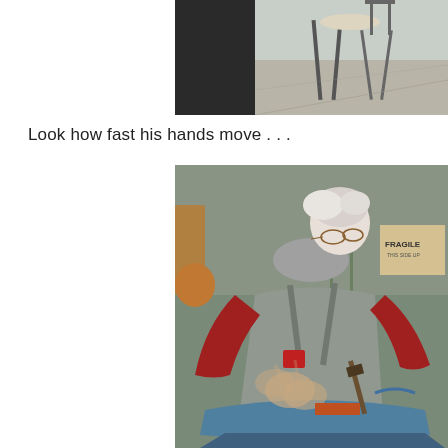[Figure (photo): Partial view of a workshop scene, showing what appears to be a stool or chair and a person's lower body in dark clothing, taken from above at an angle.]
Look how fast his hands move . . .
[Figure (photo): An elderly man with white hair wearing a red sweater and grey apron works at an anvil in a workshop, hammering metal with blurred hands indicating fast motion. Workshop items and a FRAGILE-labeled box visible in background.]